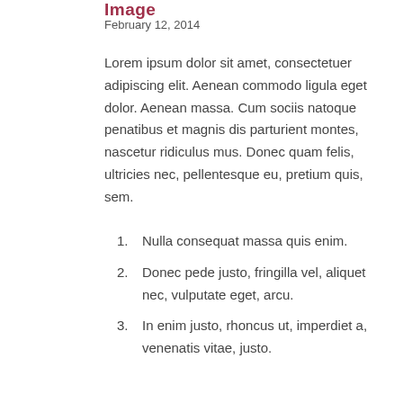Image
February 12, 2014
Lorem ipsum dolor sit amet, consectetuer adipiscing elit. Aenean commodo ligula eget dolor. Aenean massa. Cum sociis natoque penatibus et magnis dis parturient montes, nascetur ridiculus mus. Donec quam felis, ultricies nec, pellentesque eu, pretium quis, sem.
Nulla consequat massa quis enim.
Donec pede justo, fringilla vel, aliquet nec, vulputate eget, arcu.
In enim justo, rhoncus ut, imperdiet a, venenatis vitae, justo.